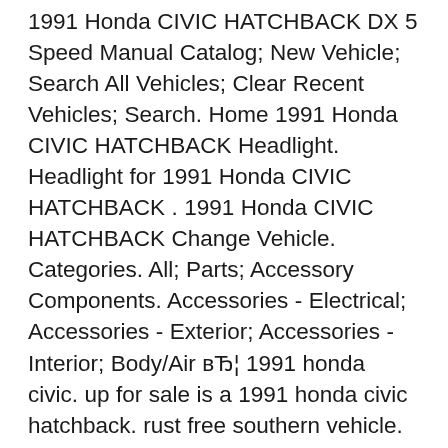1991 Honda CIVIC HATCHBACK DX 5 Speed Manual Catalog; New Vehicle; Search All Vehicles; Clear Recent Vehicles; Search. Home 1991 Honda CIVIC HATCHBACK Headlight. Headlight for 1991 Honda CIVIC HATCHBACK . 1991 Honda CIVIC HATCHBACK Change Vehicle. Categories. All; Parts; Accessory Components. Accessories - Electrical; Accessories - Exterior; Accessories - Interior; Body/Air вЂ¦ 1991 honda civic. up for sale is a 1991 honda civic hatchback. rust free southern vehicle. set up for scca auto cross and/or hillclimb, drag race. or turn back to a street use vehicle. honda b18b1 engine (from ls integra) manual transmission with limited slip lightened flywheel